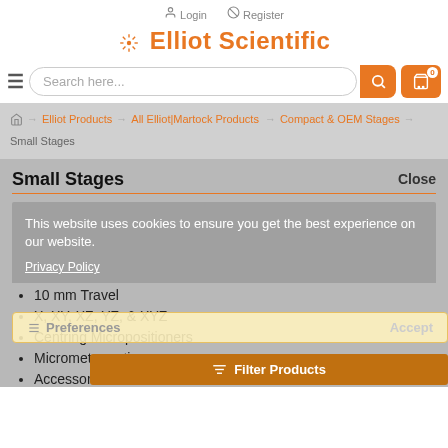Login  Register
Elliot Scientific
[Figure (screenshot): Search bar with hamburger menu, search input field 'Search here...', orange search button, and orange cart button with badge 0]
Home → Elliot Products → All Elliot|Martock Products → Compact & OEM Stages → Small Stages
Small Stages
This website uses cookies to ensure you get the best experience on our website.
Privacy Policy
10 mm Travel
X, XY, XZ, YZ, & XYZ
Centring Micropositioners
Micrometer options
Accessories
Preferences    Accept
Filter Products